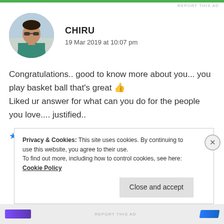REPORT THIS AD
[Figure (photo): Circular avatar photo of a man wearing sunglasses and a teal/green shirt, standing outdoors]
CHIRU
19 Mar 2019 at 10:07 pm
Congratulations.. good to know more about you... you play basket ball that's great 👍 Liked ur answer for what can you do for the people you love.... justified..
★ Liked by 2 people
Privacy & Cookies: This site uses cookies. By continuing to use this website, you agree to their use.
To find out more, including how to control cookies, see here: Cookie Policy
Close and accept
REPORT THIS AD